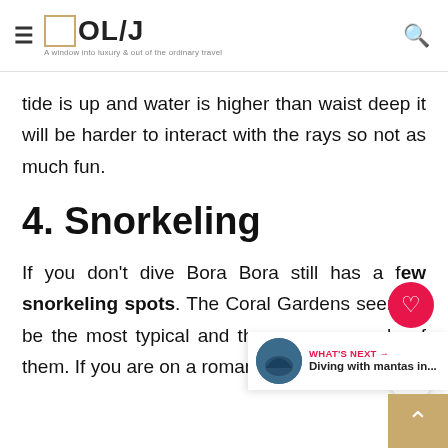OL/J — A window into luxury & out of the ordinary travel
tide is up and water is higher than waist deep it will be harder to interact with the rays so not as much fun.
4. Snorkeling
If you don't dive Bora Bora still has a few snorkeling spots. The Coral Gardens seem to be the most typical and there are a couple of them. If you are on a roman